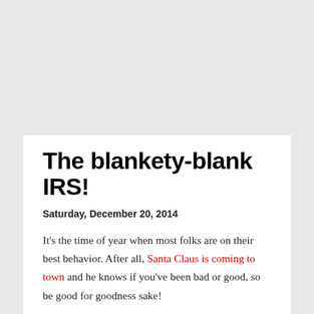The blankety-blank IRS!
Saturday, December 20, 2014
It's the time of year when most folks are on their best behavior. After all, Santa Claus is coming to town and he knows if you've been bad or good, so be good for goodness sake!
That